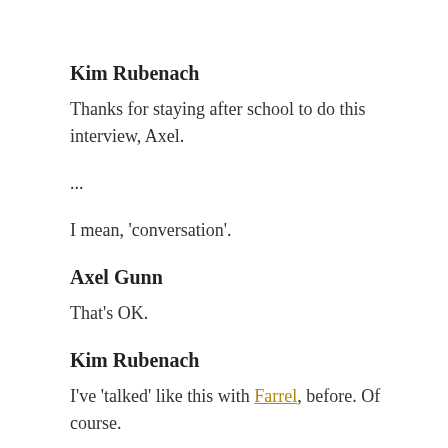Kim Rubenach
Thanks for staying after school to do this interview, Axel.
...
I mean, 'conversation'.
Axel Gunn
That's OK.
Kim Rubenach
I've 'talked' like this with Farrel, before. Of course.
Axel Gunn
So have I.